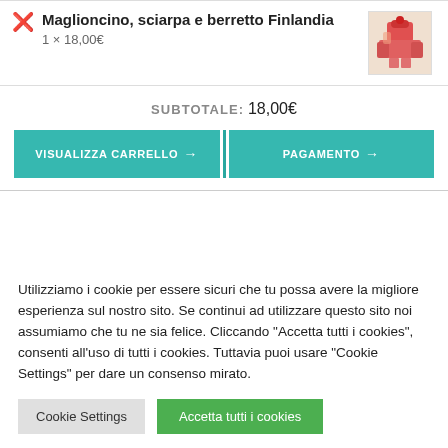Maglioncino, sciarpa e berretto Finlandia
1 × 18,00€
SUBTOTALE: 18,00€
VISUALIZZA CARRELLO → PAGAMENTO →
Utilizziamo i cookie per essere sicuri che tu possa avere la migliore esperienza sul nostro sito. Se continui ad utilizzare questo sito noi assumiamo che tu ne sia felice. Cliccando "Accetta tutti i cookies", consenti all'uso di tutti i cookies. Tuttavia puoi usare "Cookie Settings" per dare un consenso mirato.
Cookie Settings
Accetta tutti i cookies